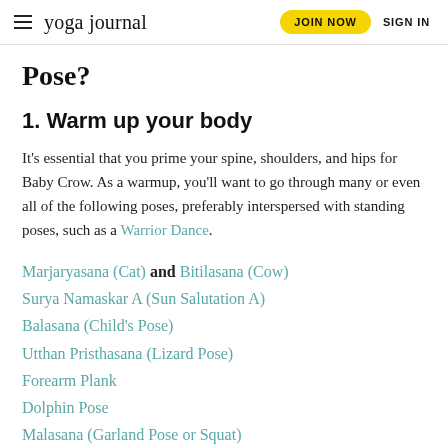yoga journal | JOIN NOW | SIGN IN
Pose?
1. Warm up your body
It's essential that you prime your spine, shoulders, and hips for Baby Crow. As a warmup, you'll want to go through many or even all of the following poses, preferably interspersed with standing poses, such as a Warrior Dance.
Marjaryasana (Cat) and Bitilasana (Cow)
Surya Namaskar A (Sun Salutation A)
Balasana (Child's Pose)
Utthan Pristhasana (Lizard Pose)
Forearm Plank
Dolphin Pose
Malasana (Garland Pose or Squat)